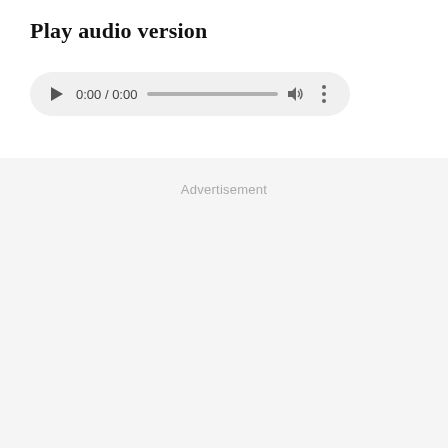Play audio version
[Figure (screenshot): Audio player UI with play button, time display showing 0:00 / 0:00, progress bar, volume icon, and more options button, on a light gray rounded rectangle background]
Advertisement